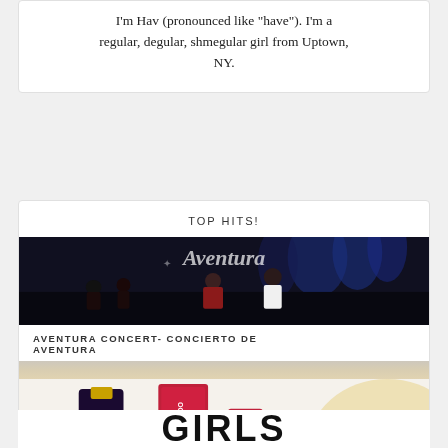I'm Hav (pronounced like "have"). I'm a regular, degular, shmegular girl from Uptown, NY.
TOP HITS!
[Figure (photo): Concert stage photo showing Aventura performing, with stage lights and logo backdrop]
AVENTURA CONCERT- CONCIERTO DE AVENTURA
[Figure (photo): Shiseido skincare products including foundation and cream displayed on white surface]
GIVEAWAY TIME!
[Figure (photo): Dark strip at bottom showing partial view of additional content]
GIRLS